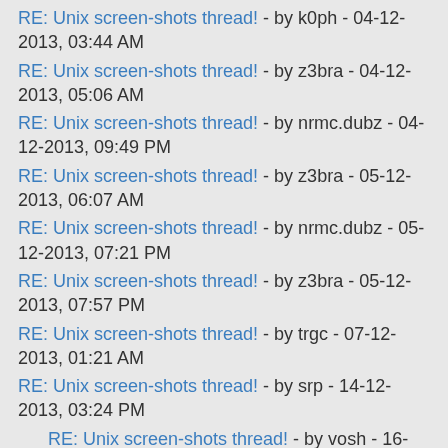RE: Unix screen-shots thread! - by k0ph - 04-12-2013, 03:44 AM
RE: Unix screen-shots thread! - by z3bra - 04-12-2013, 05:06 AM
RE: Unix screen-shots thread! - by nrmc.dubz - 04-12-2013, 09:49 PM
RE: Unix screen-shots thread! - by z3bra - 05-12-2013, 06:07 AM
RE: Unix screen-shots thread! - by nrmc.dubz - 05-12-2013, 07:21 PM
RE: Unix screen-shots thread! - by z3bra - 05-12-2013, 07:57 PM
RE: Unix screen-shots thread! - by trgc - 07-12-2013, 01:21 AM
RE: Unix screen-shots thread! - by srp - 14-12-2013, 03:24 PM
RE: Unix screen-shots thread! - by vosh - 16-12-2013, 03:26 PM
RE: Unix screen-shots thread! - by jmbi - 16-12-2013, 08:03 PM
RE: Unix screen-shots thread! - by z3bra - 18-12-2013, 04:55 AM
RE: Unix screen-shots thread! - by DotDev - 22-12-2013, 03:41 PM